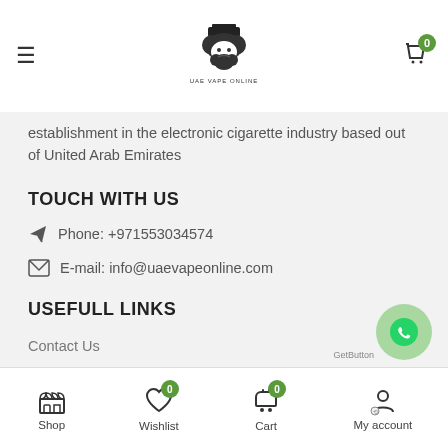UAE VAPE ONLINE - navigation bar with hamburger menu and cart
establishment in the electronic cigarette industry based out of United Arab Emirates
TOUCH WITH US
Phone: +971553034574
E-mail: info@uaevapeonline.com
USEFULL LINKS
Contact Us
My Account
Privacy Policy
Shop | Wishlist 0 | Cart 0 | My account